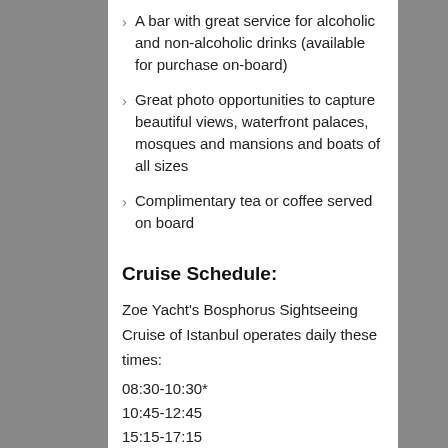A bar with great service for alcoholic and non-alcoholic drinks (available for purchase on-board)
Great photo opportunities to capture beautiful views, waterfront palaces, mosques and mansions and boats of all sizes
Complimentary tea or coffee served on board
Cruise Schedule:
Zoe Yacht's Bosphorus Sightseeing Cruise of Istanbul operates daily these times:
08:30-10:30*
10:45-12:45
15:15-17:15